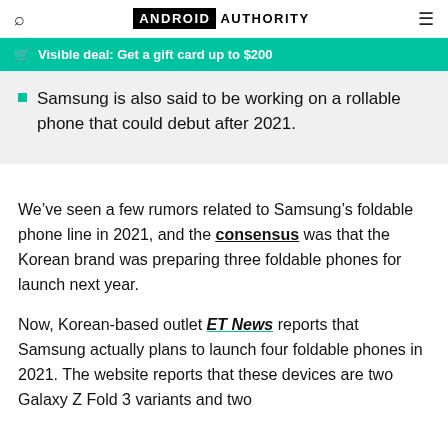ANDROID AUTHORITY
Visible deal: Get a gift card up to $200
Samsung is also said to be working on a rollable phone that could debut after 2021.
We’ve seen a few rumors related to Samsung’s foldable phone line in 2021, and the consensus was that the Korean brand was preparing three foldable phones for launch next year.
Now, Korean-based outlet ET News reports that Samsung actually plans to launch four foldable phones in 2021. The website reports that these devices are two Galaxy Z Fold 3 variants and two